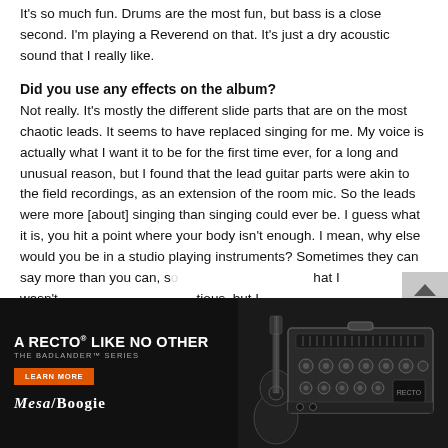It's so much fun. Drums are the most fun, but bass is a close second. I'm playing a Reverend on that. It's just a dry acoustic sound that I really like.
Did you use any effects on the album?
Not really. It's mostly the different slide parts that are on the most chaotic leads. It seems to have replaced singing for me. My voice is actually what I want it to be for the first time ever, for a long and unusual reason, but I found that the lead guitar parts were akin to the field recordings, as an extension of the room mic. So the leads were more [about] singing than singing could ever be. I guess what it is, you hit a point where your body isn't enough. I mean, why else would you be in a studio playing instruments? Sometimes they can say more than you can, s... that I wasn't... tious, but I c... vomiting... ng
[Figure (advertisement): Mesa/Boogie advertisement: 'A RECTO LIKE NO OTHER — THE BADLANDER SERIES' with guitar amplifier image, Learn More button, Mesa/Boogie logo on dark background]